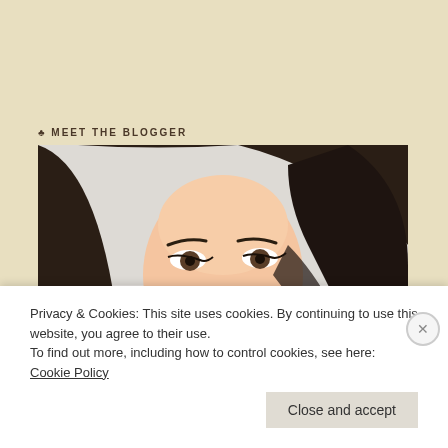♣ MEET THE BLOGGER
[Figure (photo): Close-up portrait photo of a young woman with long dark brown hair, wearing minimal makeup with winged eyeliner, small stud earrings, against a white background.]
Privacy & Cookies: This site uses cookies. By continuing to use this website, you agree to their use.
To find out more, including how to control cookies, see here: Cookie Policy
Close and accept